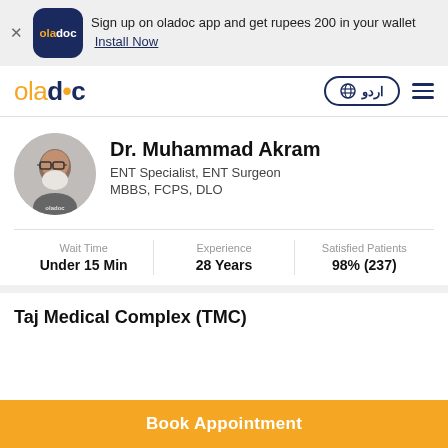Sign up on oladoc app and get rupees 200 in your wallet  Install Now
[Figure (logo): Oladoc app logo - dark blue rounded square with oladoc text in white and orange]
[Figure (logo): Oladoc website logo - orange 'ola' and dark blue 'doc' with orange plus dot]
اردو  🌐
Dr. Muhammad Akram
ENT Specialist, ENT Surgeon
MBBS, FCPS, DLO
Wait Time
Under 15 Min
Experience
28 Years
Satisfied Patients
98% (237)
Taj Medical Complex (TMC)
Book Appointment